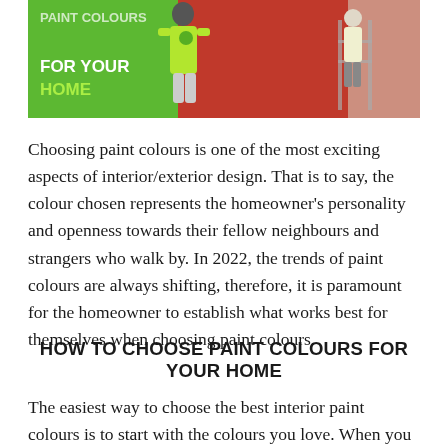[Figure (photo): Banner image showing painters in yellow and green uniforms painting walls. Green panel on left with white bold text 'FOR YOUR HOME', red background on right showing a person on a ladder painting a wall.]
Choosing paint colours is one of the most exciting aspects of interior/exterior design. That is to say, the colour chosen represents the homeowner's personality and openness towards their fellow neighbours and strangers who walk by. In 2022, the trends of paint colours are always shifting, therefore, it is paramount for the homeowner to establish what works best for themselves when choosing paint colours.
HOW TO CHOOSE PAINT COLOURS FOR YOUR HOME
The easiest way to choose the best interior paint colours is to start with the colours you love. When you start with